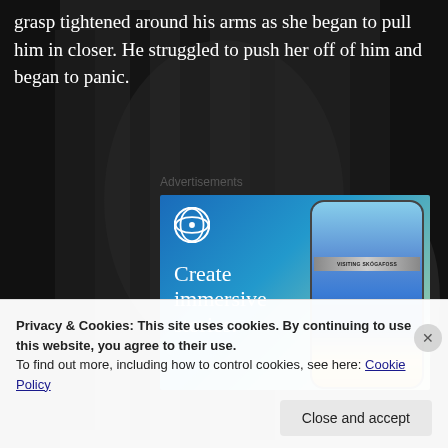grasp tightened around his arms as she began to pull him in closer. He struggled to push her off of him and began to panic.
Advertisements
[Figure (illustration): WordPress advertisement banner showing 'Create immersive stories.' with WordPress logo and phone mockup displaying a waterfall scene labeled 'VISITING SKÓGAFOSS']
Privacy & Cookies: This site uses cookies. By continuing to use this website, you agree to their use.
To find out more, including how to control cookies, see here: Cookie Policy
Close and accept